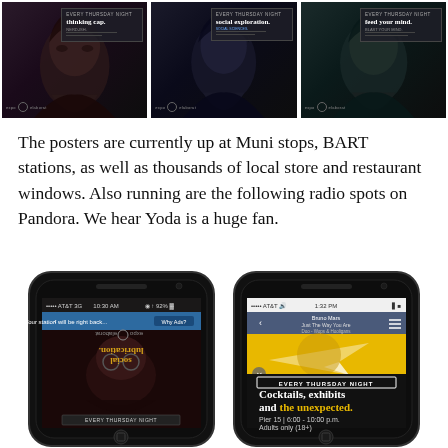[Figure (photo): Three dark promotional posters side by side: 'thinking cap.', 'social exploration.', and 'feed your mind.' — each showing a person's face with expo branding]
The posters are currently up at Muni stops, BART stations, as well as thousands of local store and restaurant windows. Also running are the following radio spots on Pandora. We hear Yoda is a huge fan.
[Figure (photo): Two iPhone screenshots side by side. Left phone shows Pandora ad for 'social lubrication' event (upside-down). Right phone shows an ad for 'Cocktails, exhibits and the unexpected.' Every Thursday Night at Pier 15, 6:00-10:00 p.m., Adults only (18+), with Bruno Mars playing.]